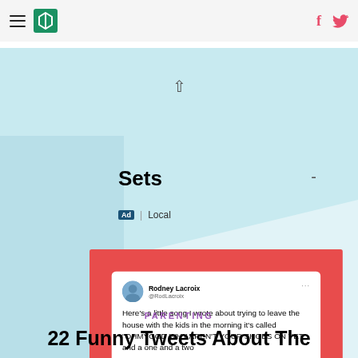HuffPost navigation with hamburger menu, logo, Facebook and Twitter icons
Sets
Ad | Local
[Figure (screenshot): Tweet from Rodney Lacroix (@RodLacroix) on red background: 'Here's a little song I wrote about trying to leave the house with the kids in the morning it's called "OHMYGOD WHY AREN'T YOUR SHOES ON YET" and a one and a two' — 7:11 AM · Apr 8, 2021 · Twitter Web App — 97 Retweets 4 Quote Tweets 604 Likes]
PARENTING
22 Funny Tweets About The